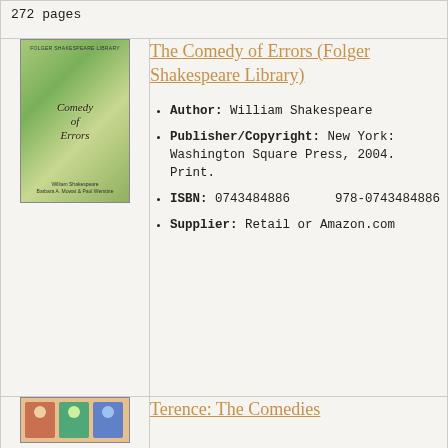272 pages
[Figure (illustration): Book cover of The Comedy of Errors (Folger Shakespeare Library) with green leafy background and italic script title]
The Comedy of Errors (Folger Shakespeare Library)
Author: William Shakespeare
Publisher/Copyright: New York: Washington Square Press, 2004. Print.
ISBN: 0743484886    978-0743484886
Supplier: Retail or Amazon.com
[Figure (illustration): Book cover of Terence: The Comedies with colorful illustrated figures]
Terence: The Comedies